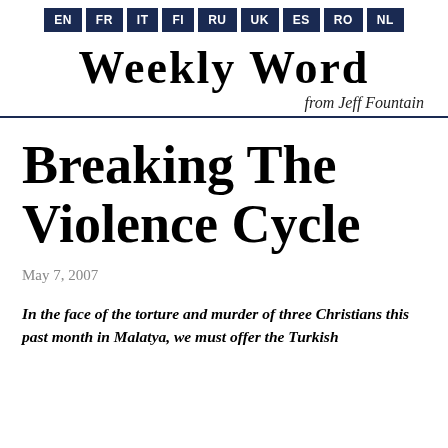EN FR IT FI RU UK ES RO NL
Weekly Word
from Jeff Fountain
Breaking The Violence Cycle
May 7, 2007
In the face of the torture and murder of three Christians this past month in Malatya, we must offer the Turkish